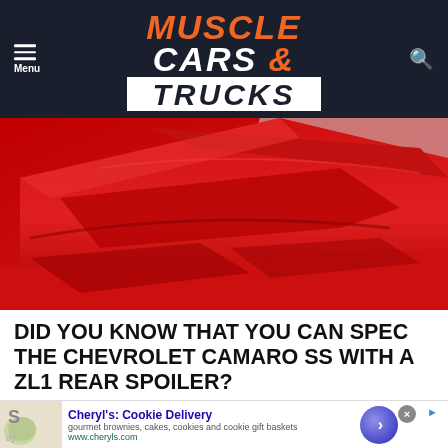Muscle Cars & Trucks
[Figure (photo): Close-up of a red Chevrolet Camaro ZL1 rear spoiler against a light grey background, showing angular aerodynamic bodywork in bright red paint.]
DID YOU KNOW THAT YOU CAN SPEC THE CHEVROLET CAMARO SS WITH A ZL1 REAR SPOILER?
[Figure (other): Advertisement banner: Cheryl's: Cookie Delivery — gourmet brownies, cakes, cookies and cookie gift baskets — www.cheryls.com]